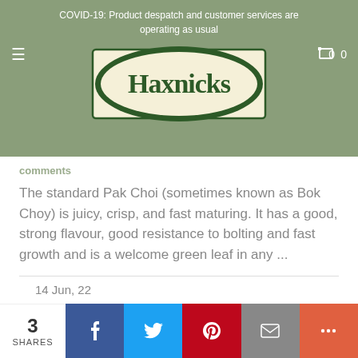COVID-19: Product despatch and customer services are operating as usual
[Figure (logo): Haxnicks logo — dark green oval with cream fill and serif 'Haxnicks' text, inside a rectangular frame on a sage green background]
The standard Pak Choi (sometimes known as Bok Choy) is juicy, crisp, and fast maturing. It has a good, strong flavour, good resistance to bolting and fast growth and is a welcome green leaf in any ...
14 Jun, 22
3 SHARES   f   t   p   ✉   +